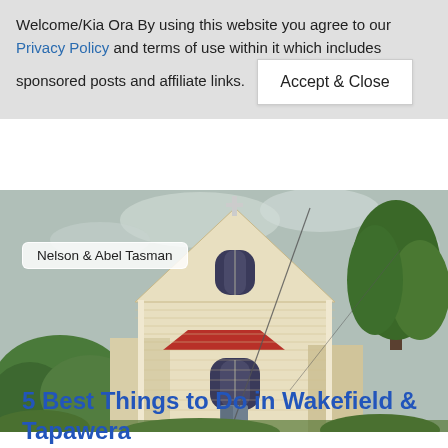Welcome/Kia Ora By using this website you agree to our Privacy Policy and terms of use within it which includes sponsored posts and affiliate links. [Accept & Close]
[Figure (photo): Photo of a heritage wooden church building with cream/yellow painted weatherboard siding, steep triangular gable roof with a cross at the top, gothic arched windows, red accent roof on a lower section, surrounded by green hedges and trees under a cloudy sky. A label reads 'Nelson & Abel Tasman'.]
5 Best Things to Do in Wakefield & Tapawera